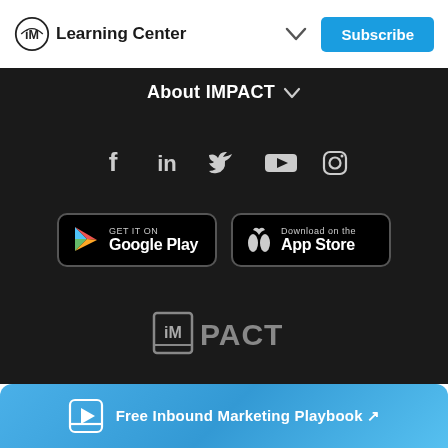Learning Center
About IMPACT
[Figure (infographic): Social media icons row: Facebook, LinkedIn, Twitter, YouTube, Instagram]
[Figure (infographic): App store buttons: GET IT ON Google Play, Download on the App Store]
[Figure (logo): IMPACT logo in grey/white]
© 2022 IMPACT, All Rights Reserved.
[Figure (infographic): Free Inbound Marketing Playbook banner with book icon and arrow link]